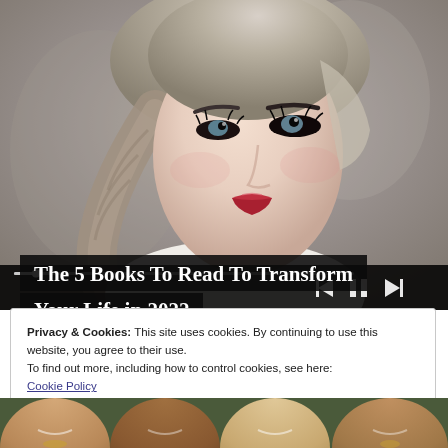[Figure (screenshot): Video player showing a blonde woman with red lips looking to the side against a grey background, with video playback controls (skip back, pause, skip forward) and a progress bar overlay at the bottom]
The 5 Books To Read To Transform Your Life in 2022
Privacy & Cookies: This site uses cookies. By continuing to use this website, you agree to their use.
To find out more, including how to control cookies, see here:
Cookie Policy
[Figure (photo): Row of diverse people smiling, partially visible at the bottom of the page]